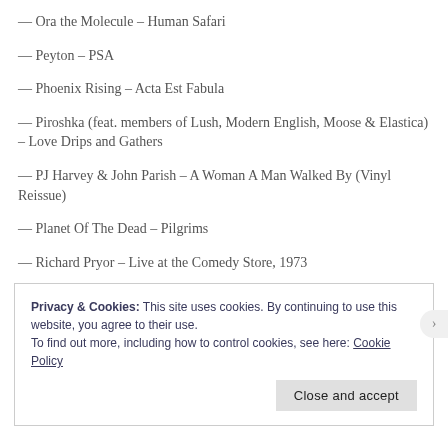— Ora the Molecule – Human Safari
— Peyton – PSA
— Phoenix Rising – Acta Est Fabula
— Piroshka (feat. members of Lush, Modern English, Moose & Elastica) – Love Drips and Gathers
— PJ Harvey & John Parish – A Woman A Man Walked By (Vinyl Reissue)
— Planet Of The Dead – Pilgrims
— Richard Pryor – Live at the Comedy Store, 1973
Privacy & Cookies: This site uses cookies. By continuing to use this website, you agree to their use.
To find out more, including how to control cookies, see here: Cookie Policy
Close and accept